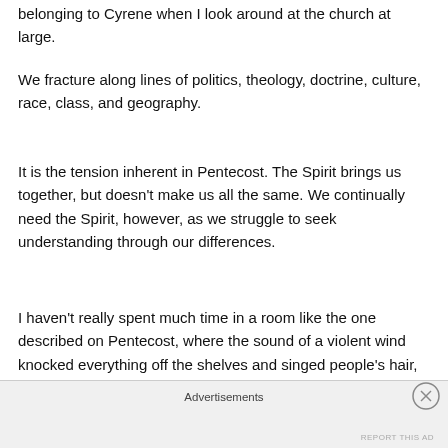belonging to Cyrene when I look around at the church at large.
We fracture along lines of politics, theology, doctrine, culture, race, class, and geography.
It is the tension inherent in Pentecost. The Spirit brings us together, but doesn’t make us all the same. We continually need the Spirit, however, as we struggle to seek understanding through our differences.
I haven’t really spent much time in a room like the one described on Pentecost, where the sound of a violent wind knocked everything off the shelves and singed people’s hair, leaving them able to understand the others in the
Advertisements